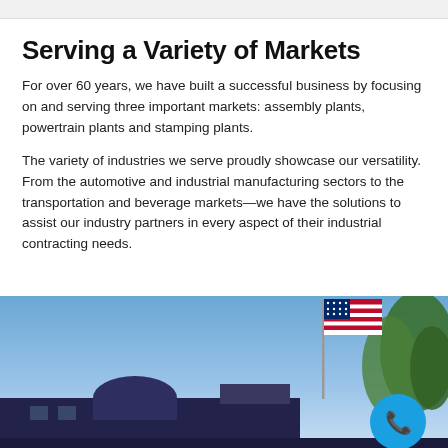Serving a Variety of Markets
For over 60 years, we have built a successful business by focusing on and serving three important markets: assembly plants, powertrain plants and stamping plants.
The variety of industries we serve proudly showcase our versatility. From the automotive and industrial manufacturing sectors to the transportation and beverage markets—we have the solutions to assist our industry partners in every aspect of their industrial contracting needs.
[Figure (photo): Exterior photo of an industrial building with an American flag on a flagpole, trees on the right side, against a blue sky. A blue phone contact button is overlaid in the bottom right corner.]